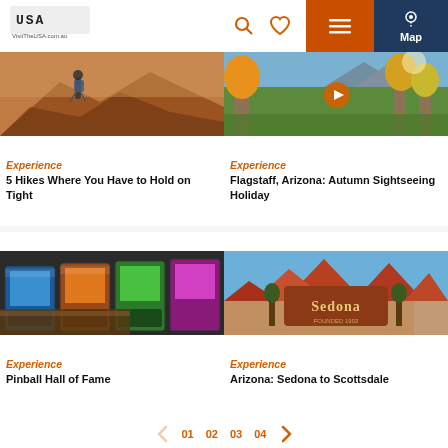VisitTheUSA.com.au header with logo, search icon, heart icon, menu button, and Map button
[Figure (photo): Hiker with backpack and trekking poles on red rock trail]
[Figure (photo): Autumn forest scene in Flagstaff Arizona with colorful trees and mountains, video play button overlay]
Experience
5 Hikes Where You Have to Hold on Tight
Experience
Flagstaff, Arizona: Autumn Sightseeing Holiday
[Figure (photo): Row of colorful pinball machines in an arcade hall]
[Figure (photo): Sedona city sign with red rock formations in background]
Experience
Pinball Hall of Fame
Experience
Arizona: Sedona to Scottsdale
01  02  03  04